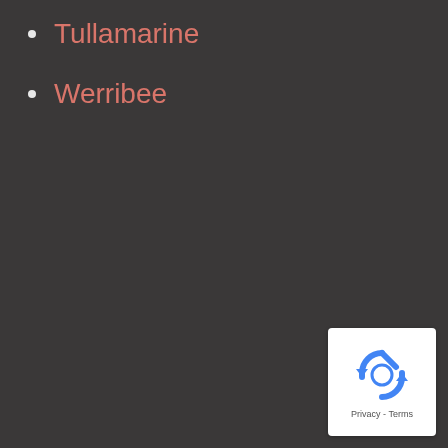Tullamarine
Werribee
[Figure (logo): reCAPTCHA badge with recycling-arrow logo icon and Privacy - Terms text]